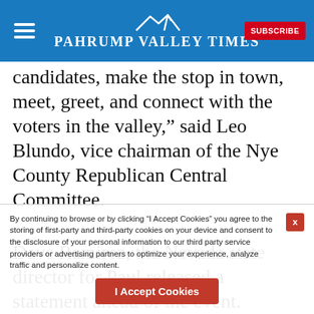Pahrump Valley Times
candidates, make the stop in town, meet, greet, and connect with the voters in the valley,” said Leo Blundo, vice chairman of the Nye County Republican Central Committee.
Dave Ramirez, the Nevada state director for Paul released a statement ahead of the event.
“Sen. Rand Paul is excited to visit Pahrump the day before the debate (in Boulder, Colorado). Sen. Paul recognizes Nye County as the tip of the spear for the Republican
By continuing to browse or by clicking “I Accept Cookies” you agree to the storing of first-party and third-party cookies on your device and consent to the disclosure of your personal information to our third party service providers or advertising partners to optimize your experience, analyze traffic and personalize content.
I Accept Cookies